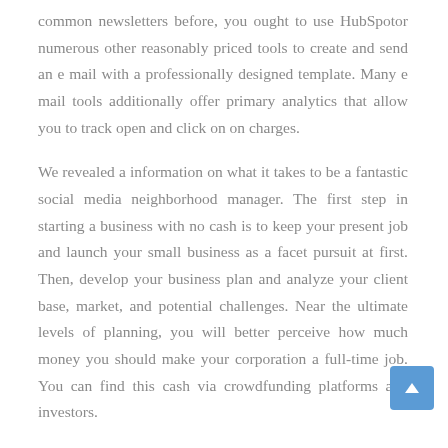common newsletters before, you ought to use HubSpotor numerous other reasonably priced tools to create and send an e mail with a professionally designed template. Many e mail tools additionally offer primary analytics that allow you to track open and click on on charges.
We revealed a information on what it takes to be a fantastic social media neighborhood manager. The first step in starting a business with no cash is to keep your present job and launch your small business as a facet pursuit at first. Then, develop your business plan and analyze your client base, market, and potential challenges. Near the ultimate levels of planning, you will better perceive how much money you should make your corporation a full-time job. You can find this cash via crowdfunding platforms and investors.
We additionally strictly prohibit content related to